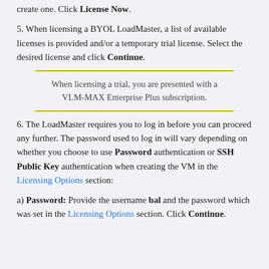create one. Click License Now.
5. When licensing a BYOL LoadMaster, a list of available licenses is provided and/or a temporary trial license. Select the desired license and click Continue.
When licensing a trial, you are presented with a VLM-MAX Enterprise Plus subscription.
6. The LoadMaster requires you to log in before you can proceed any further. The password used to log in will vary depending on whether you choose to use Password authentication or SSH Public Key authentication when creating the VM in the Licensing Options section:
a) Password: Provide the username bal and the password which was set in the Licensing Options section. Click Continue.